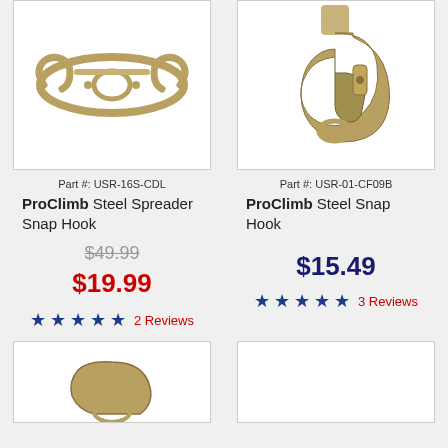[Figure (photo): ProClimb Steel Spreader Snap Hook - metal spreader hook shown from above]
[Figure (photo): ProClimb Steel Snap Hook - single carabiner-style snap hook in gold/bronze finish]
Part #: USR-16S-CDL
Part #: USR-01-CF09B
ProClimb Steel Spreader Snap Hook
ProClimb Steel Snap Hook
$49.99
$15.49
$19.99
★★★★★ 2 Reviews
★★★★★ 3 Reviews
[Figure (photo): Partial view of another ProClimb snap hook product at bottom left]
[Figure (photo): Partial view of another ProClimb product at bottom right]